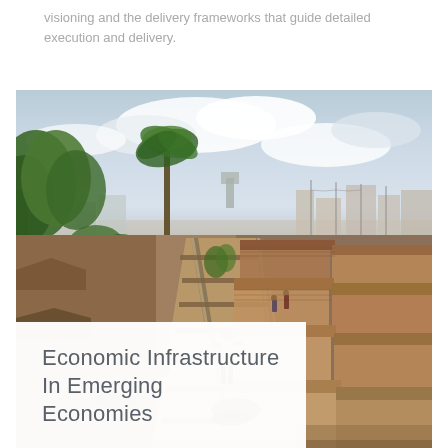visioning and the delivery frameworks that guide detailed execution and delivery.
[Figure (photo): A photo of a railway track running through an informal urban settlement in an emerging economy. A person in yellow clothing stands on the track. Corrugated metal rooftops line the right side, lush green trees on the left, and a cloudy sky above.]
Economic Infrastructure In Emerging Economies